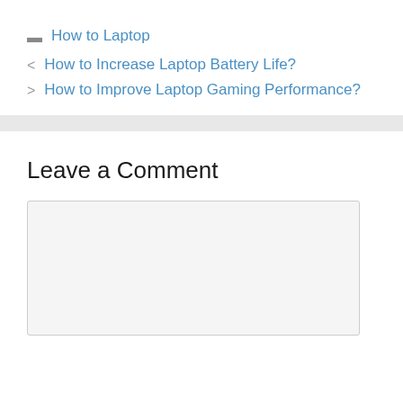📁 How to Laptop
< How to Increase Laptop Battery Life?
> How to Improve Laptop Gaming Performance?
Leave a Comment